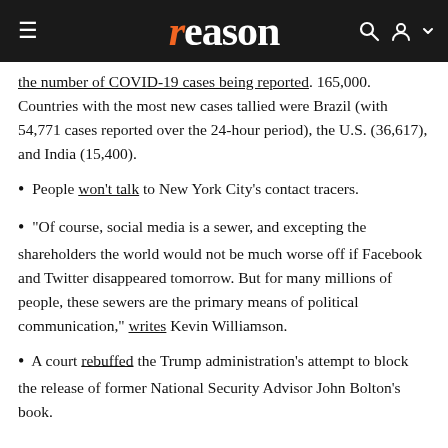reason
the number of COVID-19 cases being reported. 165,000. Countries with the most new cases tallied were Brazil (with 54,771 cases reported over the 24-hour period), the U.S. (36,617), and India (15,400).
People won't talk to New York City's contact tracers.
"Of course, social media is a sewer, and excepting the shareholders the world would not be much worse off if Facebook and Twitter disappeared tomorrow. But for many millions of people, these sewers are the primary means of political communication," writes Kevin Williamson.
A court rebuffed the Trump administration's attempt to block the release of former National Security Advisor John Bolton's book.